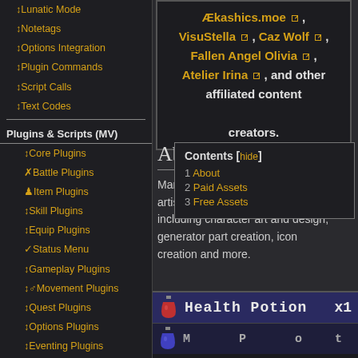↕Lunatic Mode
↕Notetags
↕Options Integration
↕Plugin Commands
↕Script Calls
↕Text Codes
Plugins & Scripts (MV)
↕Core Plugins
✗Battle Plugins
♟Item Plugins
↕Skill Plugins
↕Equip Plugins
✓Status Menu
↕Gameplay Plugins
↕♂Movement Plugins
↕Quest Plugins
↕Options Plugins
↕Eventing Plugins
✗Utility Plugins
↕Mechanical
↕Visual Plugins
↕Menu Plugins
↕Message Plugins
Ækashics.moe, VisuStella, Caz Wolf, Fallen Angel Olivia, Atelier Irina, and other affiliated content creators.
About
Marimo is a highly talented 2D artist with skills in many fields, including character art and design, generator part creation, icon creation and more.
| Contents [hide] |
| --- |
| 1 About |
| 2 Paid Assets |
| 3 Free Assets |
[Figure (screenshot): Game UI showing inventory items: Health Potion x1 and a second item row below]